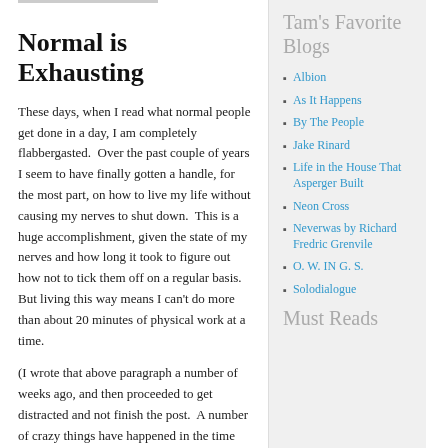Normal is Exhausting
These days, when I read what normal people get done in a day, I am completely flabbergasted.  Over the past couple of years I seem to have finally gotten a handle, for the most part, on how to live my life without causing my nerves to shut down.  This is a huge accomplishment, given the state of my nerves and how long it took to figure out how not to tick them off on a regular basis.  But living this way means I can't do more than about 20 minutes of physical work at a time.
(I wrote that above paragraph a number of weeks ago, and then proceeded to get distracted and not finish the post.  A number of crazy things have happened in the time since then, and I finally have time to write another blog
Tam's Favorite Blogs
Albion
As It Happens
By The People
Jake Rinard
Life in the House That Asperger Built
Neon Cross
Neverwas by Richard Fredric Grenvile
O. W. IN G. S.
Solodialogue
Must Reads